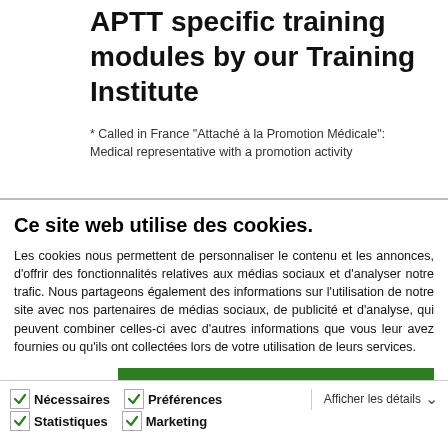APTT specific training modules by our Training Institute
* Called in France "Attaché à la Promotion Médicale":
Medical representative with a promotion activity
Ce site web utilise des cookies.
Les cookies nous permettent de personnaliser le contenu et les annonces, d'offrir des fonctionnalités relatives aux médias sociaux et d'analyser notre trafic. Nous partageons également des informations sur l'utilisation de notre site avec nos partenaires de médias sociaux, de publicité et d'analyse, qui peuvent combiner celles-ci avec d'autres informations que vous leur avez fournies ou qu'ils ont collectées lors de votre utilisation de leurs services.
Autoriser tous les cookies
Autoriser la sélection
Refuser les cookies
Nécessaires  Préférences  Statistiques  Marketing  Afficher les détails